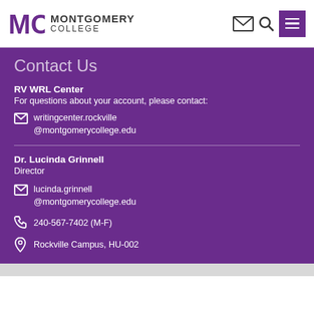[Figure (logo): Montgomery College logo with MC letters and college name]
Contact Us
RV WRL Center
For questions about your account, please contact:
writingcenter.rockville@montgomerycollege.edu
Dr. Lucinda Grinnell
Director
lucinda.grinnell@montgomerycollege.edu
240-567-7402 (M-F)
Rockville Campus, HU-002